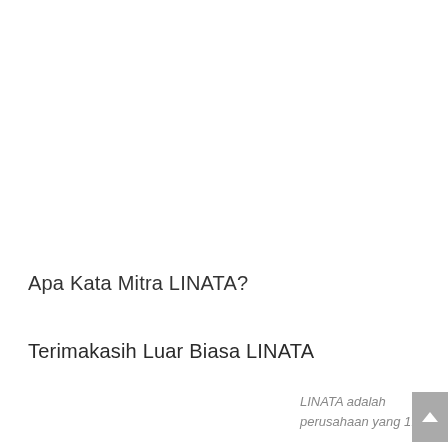Apa Kata Mitra LINATA?
Terimakasih Luar Biasa LINATA
LINATA adalah perusahaan yang 1.